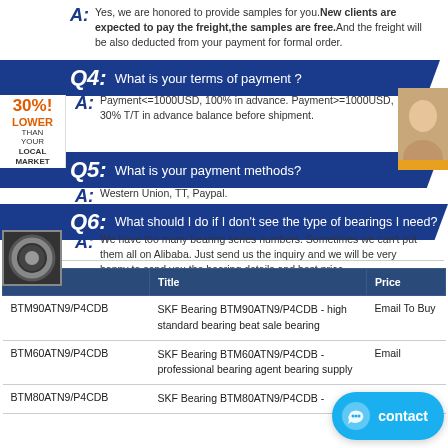A: Yes, we are honored to provide samples for you. New clients are expected to pay the freight,the samples are free.And the freight will be also deducted from your payment for formal order.
Q4: What is your terms of payment ?
A: Payment<=1000USD, 100% in advance. Payment>=1000USD, 30% T/T in advance balance before shipment.
Q5: What is your payment methods?
A: Western Union, TT, Paypal.
Q6: What should I do if I don't see the type of bearings I need?
A: We have too many bearing series numbers. Sometimes we can't put them all on Alibaba. Just send us the inquiry and we will be very happy to send you the bearing details and best price.
| Model | Title | Price |
| --- | --- | --- |
| BTM90ATN9/P4CDB | SKF Bearing BTM90ATN9/P4CDB - high standard bearing beat sale bearing | Email To Buy |
| BTM60ATN9/P4CDB | SKF Bearing BTM60ATN9/P4CDB - professional bearing agent bearing supply | Email |
| BTM80ATN9/P4CDB | SKF Bearing BTM80ATN9/P4CDB - | Email |